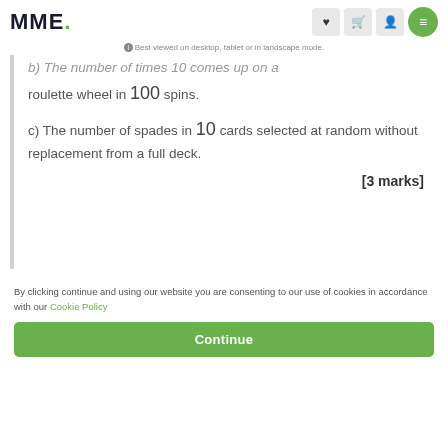MME.
Best viewed on desktop, tablet or in landscape mode.
b) The number of times 10 comes up on a roulette wheel in 100 spins.
c) The number of spades in 10 cards selected at random without replacement from a full deck.
[3 marks]
By clicking continue and using our website you are consenting to our use of cookies in accordance with our Cookie Policy
Continue